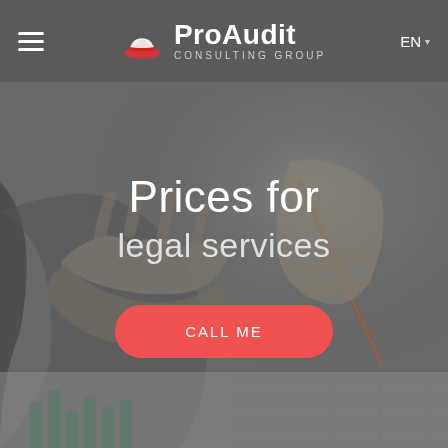ProAudit CONSULTING GROUP | EN
Prices for
legal services
CALL ME